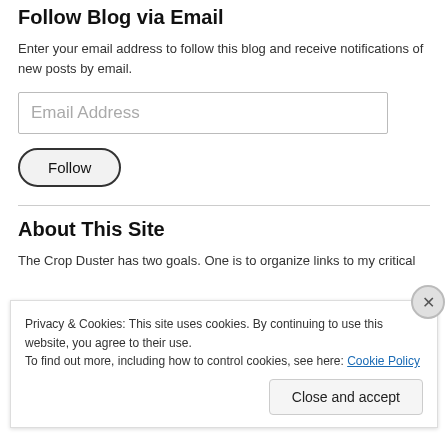Follow Blog via Email
Enter your email address to follow this blog and receive notifications of new posts by email.
Email Address
Follow
About This Site
The Crop Duster has two goals. One is to organize links to my critical
Privacy & Cookies: This site uses cookies. By continuing to use this website, you agree to their use.
To find out more, including how to control cookies, see here: Cookie Policy
Close and accept